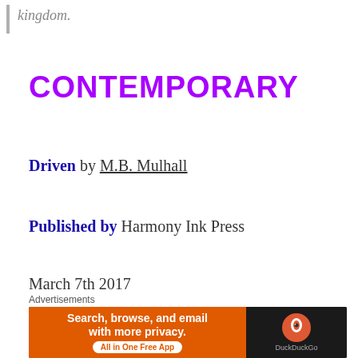kingdom.
CONTEMPORARY
Driven by M.B. Mulhall
Published by Harmony Ink Press
March 7th 2017
[Figure (photo): Book cover image showing two figures with colorful hair in purple and teal tones]
Advertisements
[Figure (screenshot): DuckDuckGo advertisement banner: Search, browse, and email with more privacy. All in One Free App]